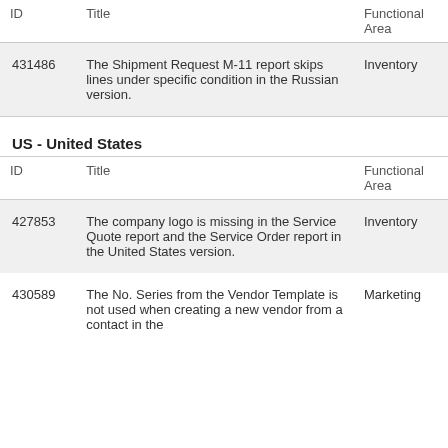| ID | Title | Functional Area |
| --- | --- | --- |
| 431486 | The Shipment Request M-11 report skips lines under specific condition in the Russian version. | Inventory |
US - United States
| ID | Title | Functional Area |
| --- | --- | --- |
| 427853 | The company logo is missing in the Service Quote report and the Service Order report in the United States version. | Inventory |
| 430589 | The No. Series from the Vendor Template is not used when creating a new vendor from a contact in the | Marketing |